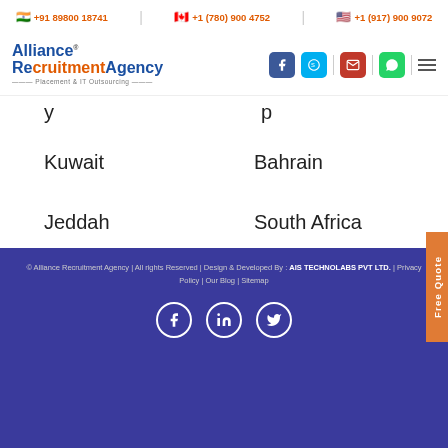+91 89800 18741 | +1 (780) 900 4752 | +1 (917) 900 9072
[Figure (logo): Alliance Recruitment Agency logo with Placement & IT Outsourcing tagline and social media icons (Facebook, Skype, Email, WhatsApp, menu)]
Kuwait
Bahrain
Jeddah
South Africa
Riyadh
Oman
© Alliance Recruitment Agency | All rights Reserved | Design & Developed By : AIS TECHNOLABS PVT LTD. | Privacy Policy | Our Blog | Sitemap